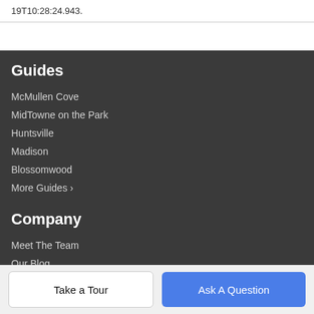19T10:28:24.943.
Guides
McMullen Cove
MidTowne on the Park
Huntsville
Madison
Blossomwood
More Guides ›
Company
Meet The Team
Our Blog
Contact Us
Take a Tour
Ask A Question